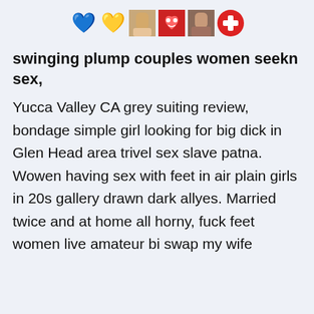[Figure (other): Row of emoji and small photo icons: blue heart, orange/yellow heart with pink, woman photo, red heart with face, woman photo, red circle with white cross]
swinging plump couples women seekn sex,
Yucca Valley CA grey suiting review, bondage simple girl looking for big dick in Glen Head area trivel sex slave patna. Wowen having sex with feet in air plain girls in 20s gallery drawn dark allyes. Married twice and at home all horny, fuck feet women live amateur bi swap my wife